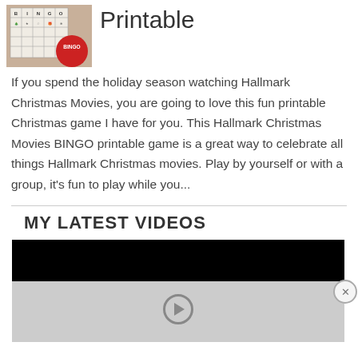[Figure (photo): Thumbnail image of Hallmark Christmas Movies BINGO printable game cards with a red BINGO circle overlay]
Printable
If you spend the holiday season watching Hallmark Christmas Movies, you are going to love this fun printable Christmas game I have for you. This Hallmark Christmas Movies BINGO printable game is a great way to celebrate all things Hallmark Christmas movies. Play by yourself or with a group, it’s fun to play while you...
MY LATEST VIDEOS
[Figure (screenshot): Embedded video player with black top portion and grey bottom portion showing a play button icon]